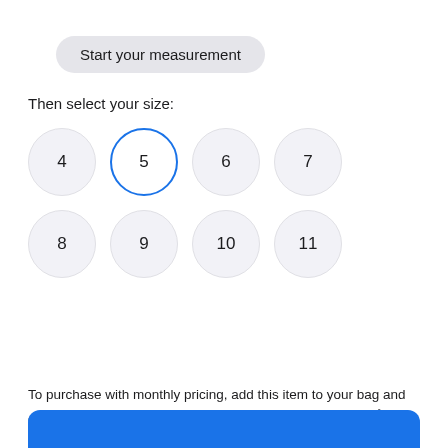[Figure (other): Button labeled 'Start your measurement' with rounded pill shape and light gray background]
Then select your size:
[Figure (other): Size selector grid with circular buttons for sizes 4, 5 (selected/highlighted with blue border), 6, 7, 8, 9, 10, 11, 12]
To purchase with monthly pricing, add this item to your bag and choose to check out with Apple Card Monthly Installments.°
[Figure (other): Blue button bar at bottom of page (partially visible)]